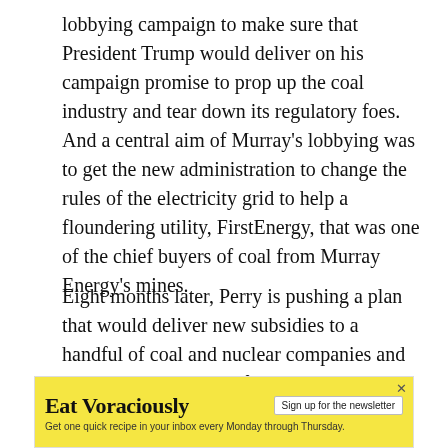lobbying campaign to make sure that President Trump would deliver on his campaign promise to prop up the coal industry and tear down its regulatory foes. And a central aim of Murray’s lobbying was to get the new administration to change the rules of the electricity grid to help a floundering utility, FirstEnergy, that was one of the chief buyers of coal from Murray Energy’s mines.
Eight months later, Perry is pushing a plan that would deliver new subsidies to a handful of coal and nuclear companies and keep open decrepit half-century old plants just as Murray had hoped — all in the name of improving the reliability and security of the electrical grid.
It’s not unprecedented for industry executives or
[Figure (other): Advertisement banner for 'Eat Voraciously' newsletter. Yellow background with bold text 'Eat Voraciously', a 'Sign up for the newsletter' button, and subtext 'Get one quick recipe in your inbox every Monday through Thursday.' An X close button is in the top right corner.]